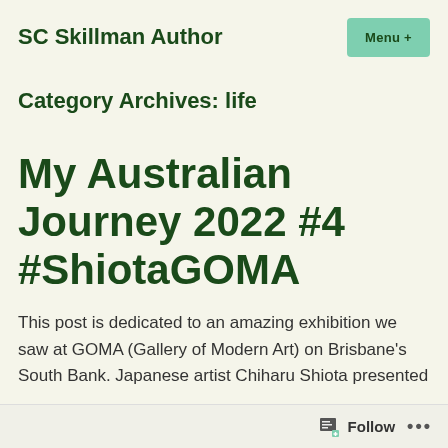SC Skillman Author
Category Archives: life
My Australian Journey 2022 #4 #ShiotaGOMA
This post is dedicated to an amazing exhibition we saw at GOMA (Gallery of Modern Art) on Brisbane's South Bank. Japanese artist Chiharu Shiota presented
Follow ...